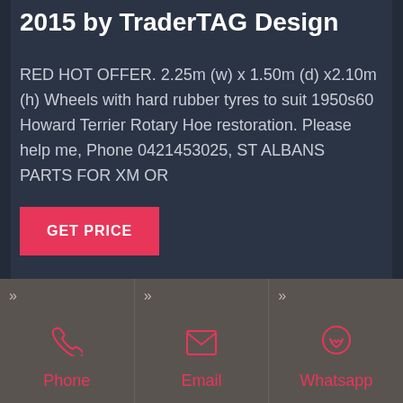2015 by TraderTAG Design
RED HOT OFFER. 2.25m (w) x 1.50m (d) x2.10m (h) Wheels with hard rubber tyres to suit 1950s60 Howard Terrier Rotary Hoe restoration. Please help me, Phone 0421453025, ST ALBANS PARTS FOR XM OR
GET PRICE
Phone
Email
Whatsapp